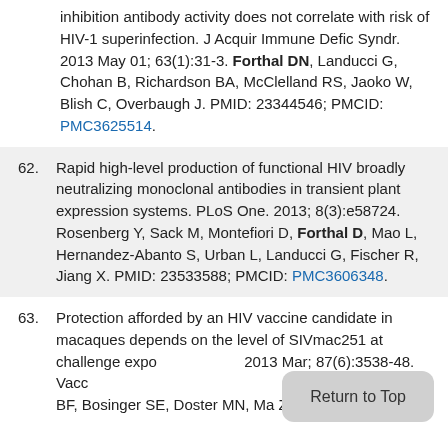inhibition antibody activity does not correlate with risk of HIV-1 superinfection. J Acquir Immune Defic Syndr. 2013 May 01; 63(1):31-3. Forthal DN, Landucci G, Chohan B, Richardson BA, McClelland RS, Jaoko W, Blish C, Overbaugh J. PMID: 23344546; PMCID: PMC3625514.
62. Rapid high-level production of functional HIV broadly neutralizing monoclonal antibodies in transient plant expression systems. PLoS One. 2013; 8(3):e58724. Rosenberg Y, Sack M, Montefiori D, Forthal D, Mao L, Hernandez-Abanto S, Urban L, Landucci G, Fischer R, Jiang X. PMID: 23533588; PMCID: PMC3606348.
63. Protection afforded by an HIV vaccine candidate in macaques depends on the level of SIVmac251 at challenge exposure. J Virol. 2013 Mar; 87(6):3538-48. Vaccari M, Poonam P, Franchini G, Tomaras GD, Shen X, Sawant S, Stablein D, Tartaglia J, Sinangil F, Nitayaphan S, Pitisuttithum P, Kaewkungwal J, Rerks-Ngarm S, Robb ML, Kim JH, Michael NL, Yates NL, Montefiori DC, Doster MN, Bosinger SE, Doster MN, Ma ZM, Pollara J.